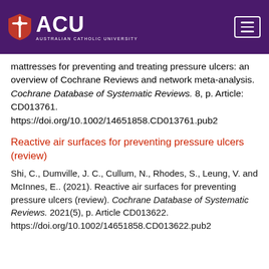ACU - Australian Catholic University
mattresses for preventing and treating pressure ulcers: an overview of Cochrane Reviews and network meta-analysis. Cochrane Database of Systematic Reviews. 8, p. Article: CD013761. https://doi.org/10.1002/14651858.CD013761.pub2
Reactive air surfaces for preventing pressure ulcers (review)
Shi, C., Dumville, J. C., Cullum, N., Rhodes, S., Leung, V. and McInnes, E.. (2021). Reactive air surfaces for preventing pressure ulcers (review). Cochrane Database of Systematic Reviews. 2021(5), p. Article CD013622. https://doi.org/10.1002/14651858.CD013622.pub2